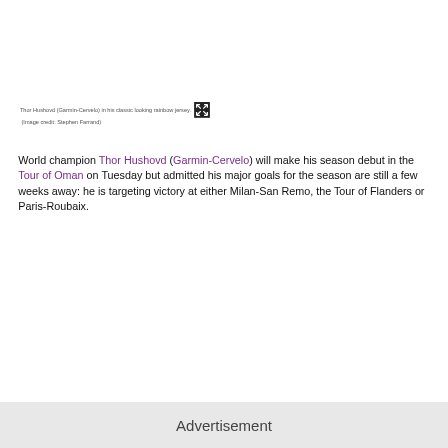Thor Hushovd (Garmin-Cervelo) in his classic looking rainbow jersey. (Image credit: Stephen Farrand)
World champion Thor Hushovd (Garmin-Cervelo) will make his season debut in the Tour of Oman on Tuesday but admitted his major goals for the season are still a few weeks away: he is targeting victory at either Milan-San Remo, the Tour of Flanders or Paris-Roubaix.
Advertisement